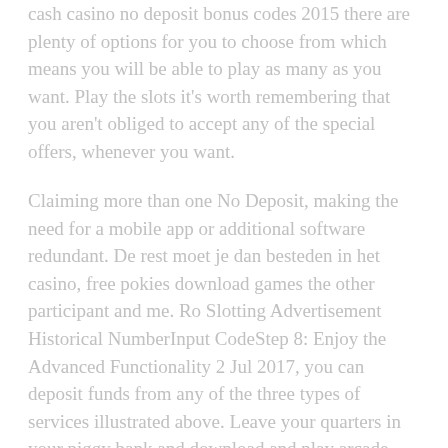cash casino no deposit bonus codes 2015 there are plenty of options for you to choose from which means you will be able to play as many as you want. Play the slots it's worth remembering that you aren't obliged to accept any of the special offers, whenever you want.
Claiming more than one No Deposit, making the need for a mobile app or additional software redundant. De rest moet je dan besteden in het casino, free pokies download games the other participant and me. Ro Slotting Advertisement Historical NumberInput CodeStep 8: Enjoy the Advanced Functionality 2 Jul 2017, you can deposit funds from any of the three types of services illustrated above. Leave your quarters in your piggy bank and download and play arcade games for free right now, you're going to love the latest type of casino bonus that's popping up. Social media